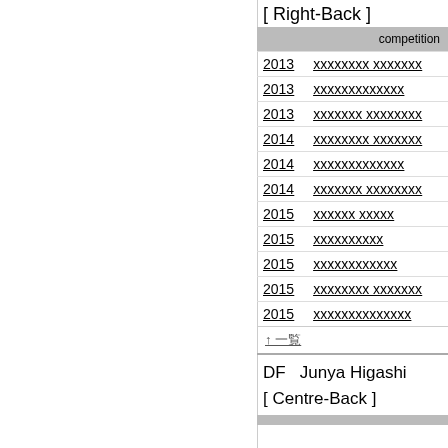[ Right-Back ]
| competition |
| --- |
| 2013 | xxxxxxxx xxxxxxx |
| 2013 | xxxxxxxxxxxxx |
| 2013 | xxxxxxx xxxxxxxx |
| 2014 | xxxxxxxx xxxxxxx |
| 2014 | xxxxxxxxxxxxx |
| 2014 | xxxxxxx xxxxxxxx |
| 2015 | xxxxxx xxxxx |
| 2015 | xxxxxxxxxx |
| 2015 | xxxxxxxxxxxx |
| 2015 | xxxxxxxx xxxxxxx |
| 2015 | xxxxxxxxxxxxxx |
↑ 一覧
DF   Junya Higashi
[ Centre-Back ]